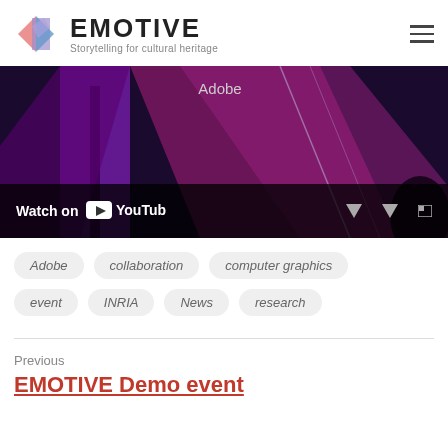EMOTIVE — Storytelling for cultural heritage
[Figure (screenshot): YouTube video embed showing a dark purple/magenta abstract background with 'Adobe' text visible. Bottom bar shows 'Watch on YouTube' control.]
Adobe
collaboration
computer graphics
event
INRIA
News
research
Previous
EMOTIVE Demo event